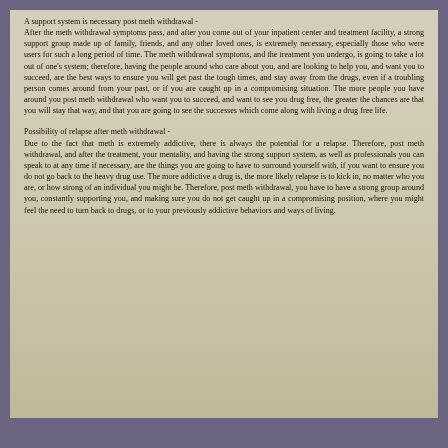A support system is necessary post meth withdrawal - After the meth withdrawal symptoms pass, and after you come out of your inpatient center and treatment facility, a strong support group made up of family, friends, and any other loved ones, is extremely necessary, especially those who were users for such a long period of time. The meth withdrawal symptoms, and the treatment you undergo, is going to take a lot out of one's system; therefore, having the people around who care about you, and are looking to help you, and want you to succeed, are the best ways to ensure you will get past the tough times, and stay away from the drugs, even if a troubling person comes around from your past, or if you are caught up in a compromising situation. The more people you have around you post meth withdrawal who want you to succeed, and want to see you drug free, the greater the chances are that you will stay that way, and that you are going to see the successes which come along with living a drug free life.
Possibility of relapse after meth withdrawal - Due to the fact that meth is extremely addictive, there is always the potential for a relapse. Therefore, post meth withdrawal, and after the treatment, your mentality, and having the strong support system, as well as professionals you can speak to at any time if necessary, are the things you are going to have to surround yourself with, if you want to ensure you do not go back to the heavy drug use. The more addictive a drug is, the more likely relapse is to kick in, no matter who you are, or how strong of an individual you might be. Therefore, post meth withdrawal, you have to have a strong group around you, constantly supporting you, and making sure you do not get caught up in a compromising position, where you might feel the need to turn back to drugs, or to your previously addictive behaviors and ways of living.